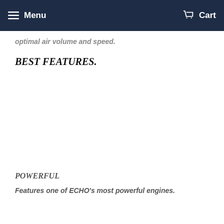Menu   Cart
Engineered, meticulously refined over decades to give optimal air volume and speed.
BEST FEATURES.
POWERFUL
Features one of ECHO's most powerful engines.